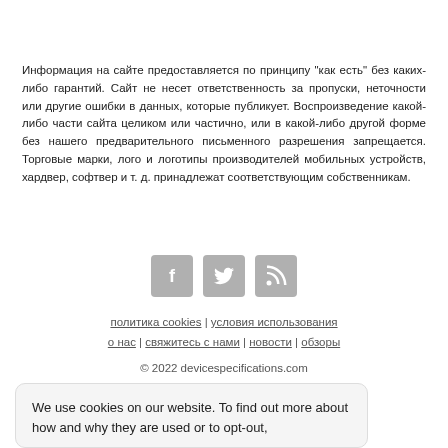Информация на сайте предоставляется по принципу "как есть" без каких-либо гарантий. Сайт не несет ответственность за пропуски, неточности или другие ошибки в данных, которые публикует. Воспроизведение какой-либо части сайта целиком или частично, или в какой-либо другой форме без нашего предварительного письменного разрешения запрещается. Торговые марки, лого и логотипы производителей мобильных устройств, хардвер, софтвер и т. д. принадлежат соответствующим собственникам.
[Figure (other): Three social media icons: Facebook, Twitter, RSS feed — grey rounded squares]
политика cookies | условия использования | о нас | свяжитесь с нами | новости | обзоры
© 2022 devicespecifications.com
We use cookies on our website. To find out more about how and why they are used or to opt-out,